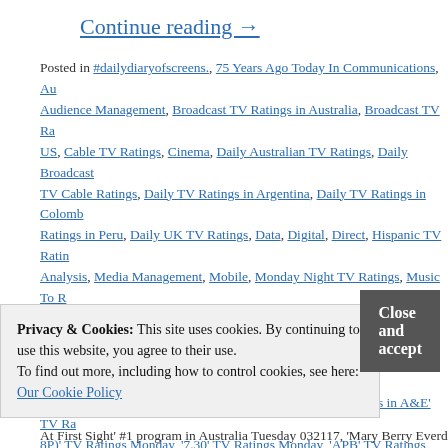Continue reading →
Posted in #dailydiaryofscreens., 75 Years Ago Today In Communications, Audience Management, Broadcast TV Ratings in Australia, Broadcast TV Ratings in the US, Cable TV Ratings, Cinema, Daily Australian TV Ratings, Daily Broadcast TV Cable Ratings, Daily TV Ratings in Argentina, Daily TV Ratings in Colombia, Ratings in Peru, Daily UK TV Ratings, Data, Digital, Direct, Hispanic TV Ratings, Analysis, Media Management, Mobile, Monday Night TV Ratings, Music To R, overtheshouldermedia by, Television Premiere Dates 2017, Television Program, TV History, Uncategorized, Weekend Box Office, Weekly TV Ratings in Canada, Mexico Monday, '2 Broke Girls' Tv Ratings Monday, '24 Hours in A&E' TV Ratings (8P)' TV Ratings Monday, '7.30' TV Ratings Monday, 'APB' TV Ratings Monday, in Australia Monday, 'Broadchurch' #1 in the UK Monday 032017, 'Broadchurch' TV Ratings in the UK Monday, 'Bullied' Tv Ratings in Australia, program in Colombia Monday 032017, 'Dancing With The Stars' #1 program, season premiere #1 program Monday 032017, 'Dancing With The Stars' season, 'Dateline' TV Ratings in Australia Tuesday, 'Dispatches' TV Ratings in the UK, Mexico Monday, 'El Rastro' TV Ratings in Colombia Monday, 'Enamorándome
Privacy & Cookies: This site uses cookies. By continuing to use this website, you agree to their use. To find out more, including how to control cookies, see here: Our Cookie Policy
At First Sight' #1 program in Australia Tuesday 032117, 'Mary Berry Everd